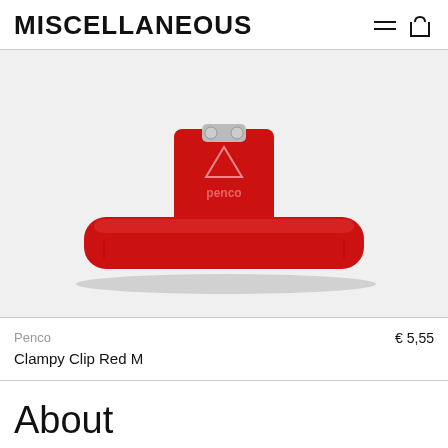MISCELLANEOUS
[Figure (photo): A red Penco Clampy Clip (medium size) photographed on a light grey background. The clip is a large metal binder clip with a wide flat base, viewed from the front. The Penco logo is visible on the metal spring mechanism at the top.]
Penco
€ 5,55
Clampy Clip Red M
About